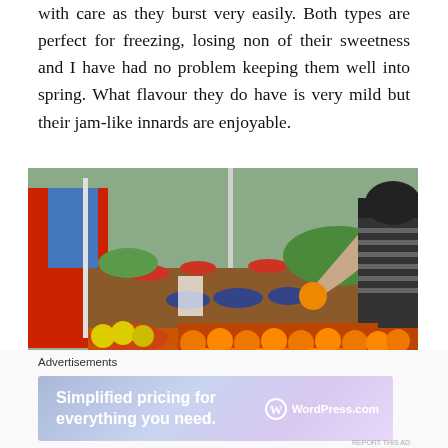with care as they burst very easily. Both types are perfect for freezing, losing non of their sweetness and I have had no problem keeping them well into spring. What flavour they do have is very mild but their jam-like innards are enjoyable.
[Figure (photo): A market scene showing a person in a striped shirt receiving an orange/mandarin fruit from a vendor in a red jacket. The market stall displays bowls of vegetables, greens, and trays of bright orange citrus fruits in the foreground.]
Advertisements
[Figure (other): WordPress.com advertisement banner: 'Simplified pricing for everything you need.' with WordPress.com logo on a purple/blue gradient background.]